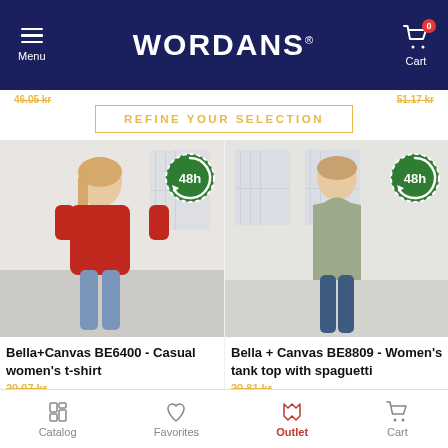WORDANS — Menu / Cart (0 items)
REFINE YOUR SELECTION
[Figure (photo): Woman wearing red Bella+Canvas t-shirt with 48h badge]
Bella+Canvas BE6400 - Casual women's t-shirt
price (strikethrough, yellow)
[Figure (photo): Woman wearing sage green Bella+Canvas tank top with 48h badge]
Bella + Canvas BE8809 - Women's tank top with spaguetti
price (strikethrough, yellow)
Catalog | Favorites | Outlet (active) | Cart